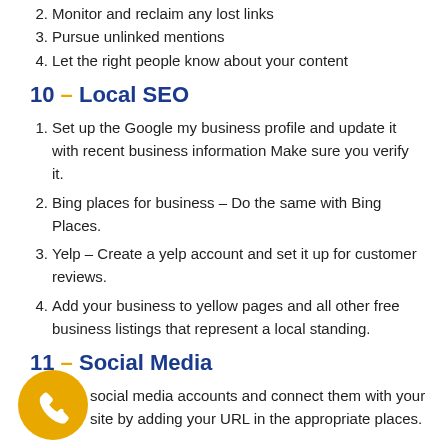2. Monitor and reclaim any lost links
3. Pursue unlinked mentions
4. Let the right people know about your content
10 – Local SEO
1. Set up the Google my business profile and update it with recent business information Make sure you verify it.
2. Bing places for business – Do the same with Bing Places.
3. Yelp – Create a yelp account and set it up for customer reviews.
4. Add your business to yellow pages and all other free business listings that represent a local standing.
11 – Social Media
social media accounts and connect them with your site by adding your URL in the appropriate places.